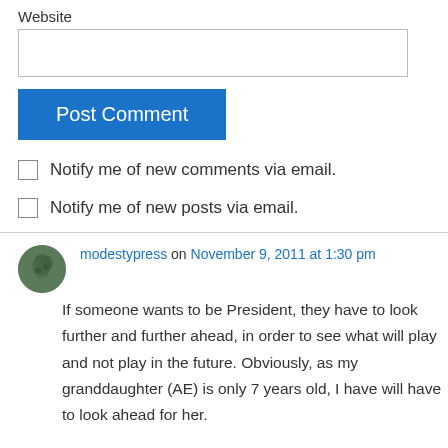Website
Post Comment
Notify me of new comments via email.
Notify me of new posts via email.
modestypress on November 9, 2011 at 1:30 pm
If someone wants to be President, they have to look further and further ahead, in order to see what will play and not play in the future. Obviously, as my granddaughter (AE) is only 7 years old, I have will have to look ahead for her.